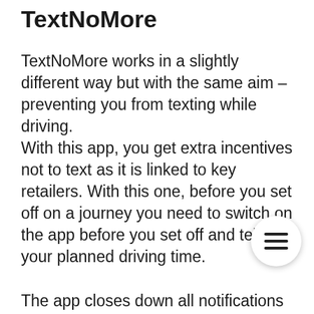TextNoMore
TextNoMore works in a slightly different way but with the same aim – preventing you from texting while driving.
With this app, you get extra incentives not to text as it is linked to key retailers. With this one, before you set off on a journey you need to switch on the app before you set off and tell it your planned driving time.

The app closes down all notifications and alerts to prevent you from being distracted and stops you texting. However, you can collect retail coupons if you don't text while driving. That way you are rewarded for your good behaviour, as well as driving more safely.